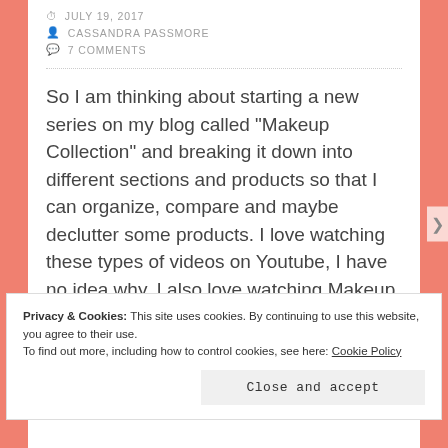JULY 19, 2017
CASSANDRA PASSMORE
7 COMMENTS
So I am thinking about starting a new series on my blog called “Makeup Collection” and breaking it down into different sections and products so that I can organize, compare and maybe declutter some products. I love watching these types of videos on Youtube, I have no idea why. I also love watching Makeup Declutters because I love seeing what people have and want to get rid of or keep and why. Anyways,
Privacy & Cookies: This site uses cookies. By continuing to use this website, you agree to their use.
To find out more, including how to control cookies, see here: Cookie Policy
Close and accept